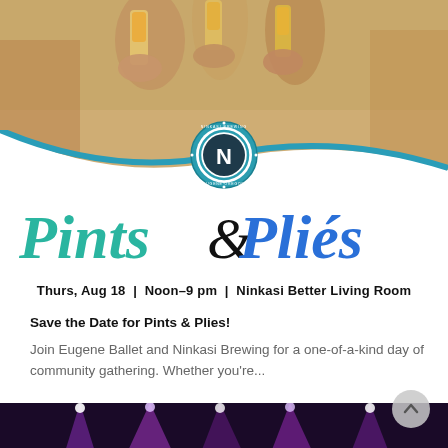[Figure (photo): Photo of people clinking glasses of beer/amber drinks in a toast, warm lighting, social gathering scene]
[Figure (logo): Ninkasi Brewing Company circular logo with large N in center, Eugene Oregon text, teal/green decorative border]
Pints & Pliés
Thurs, Aug 18 | Noon–9 pm | Ninkasi Better Living Room
Save the Date for Pints & Plies!
Join Eugene Ballet and Ninkasi Brewing for a one-of-a-kind day of community gathering. Whether you're...
[Figure (photo): Dark concert/performance photo showing stage lighting with pink/purple lights and theatrical beams, ballet or arts performance venue]